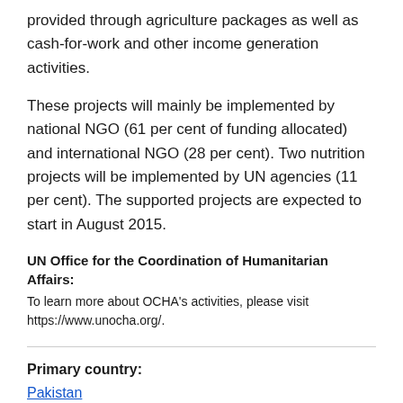provided through agriculture packages as well as cash-for-work and other income generation activities.
These projects will mainly be implemented by national NGO (61 per cent of funding allocated) and international NGO (28 per cent). Two nutrition projects will be implemented by UN agencies (11 per cent). The supported projects are expected to start in August 2015.
UN Office for the Coordination of Humanitarian Affairs:
To learn more about OCHA's activities, please visit https://www.unocha.org/.
Primary country:
Pakistan
Source: